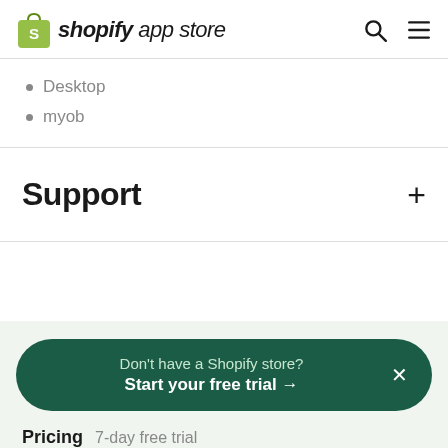shopify app store
Desktop
myob
Support
Don't have a Shopify store? Start your free trial →
Pricing 7-day free trial